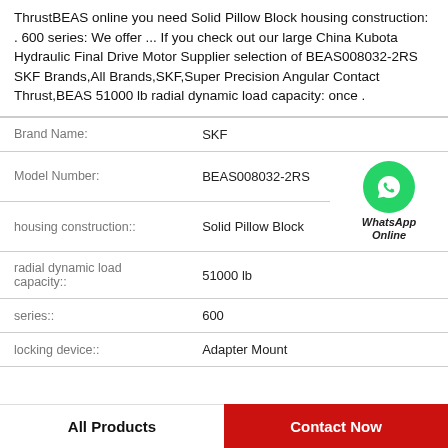ThrustBEAS online you need Solid Pillow Block housing construction: . 600 series: We offer ... If you check out our large China Kubota Hydraulic Final Drive Motor Supplier selection of BEAS008032-2RS SKF Brands,All Brands,SKF,Super Precision Angular Contact Thrust,BEAS 51000 lb radial dynamic load capacity: once .
| Property | Value |
| --- | --- |
| Brand Name: | SKF |
| Model Number: | BEAS008032-2RS |
| housing construction:: | Solid Pillow Block |
| radial dynamic load capacity:: | 51000 lb |
| series:: | 600 |
| locking device:: | Adapter Mount |
[Figure (logo): WhatsApp Online green circle icon with phone handset, text: WhatsApp Online]
All Products
Contact Now